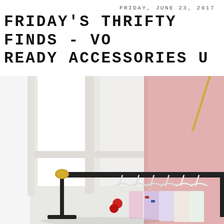FRIDAY, JUNE 23, 2017
FRIDAY'S THRIFTY FINDS - VO READY ACCESSORIES U
[Figure (photo): A clothing rack with a black metal bar and gold-toned fittings, holding multiple white hangers with colorful garments including red and floral pieces, positioned in front of a large bright window with white trim and a pink wall visible to the right. A gold plant stem is visible in the upper right corner.]